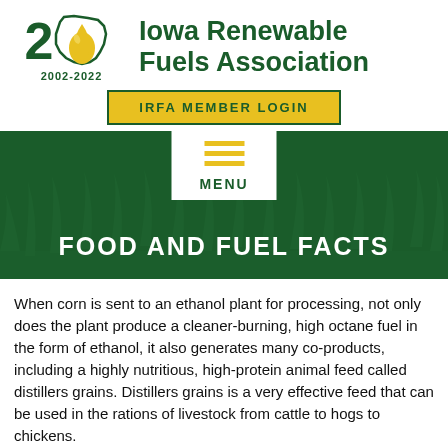[Figure (logo): Iowa Renewable Fuels Association 20th anniversary logo (2002-2022) with a yellow oil drop and Iowa state outline]
[Figure (other): IRFA MEMBER LOGIN button in yellow with dark green border and text]
[Figure (other): Dark green banner with MENU hamburger icon in white box and FOOD AND FUEL FACTS title in white text over grass background]
When corn is sent to an ethanol plant for processing, not only does the plant produce a cleaner-burning, high octane fuel in the form of ethanol, it also generates many co-products, including a highly nutritious, high-protein animal feed called distillers grains. Distillers grains is a very effective feed that can be used in the rations of livestock from cattle to hogs to chickens.